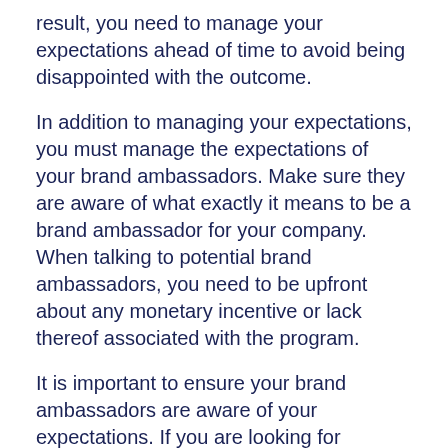result, you need to manage your expectations ahead of time to avoid being disappointed with the outcome.
In addition to managing your expectations, you must manage the expectations of your brand ambassadors. Make sure they are aware of what exactly it means to be a brand ambassador for your company. When talking to potential brand ambassadors, you need to be upfront about any monetary incentive or lack thereof associated with the program.
It is important to ensure your brand ambassadors are aware of your expectations. If you are looking for something specific like high-quality, product-driven posts made once every two weeks, you need to let your brand ambassadors know that.
If your brand ambassadors are unable to commit